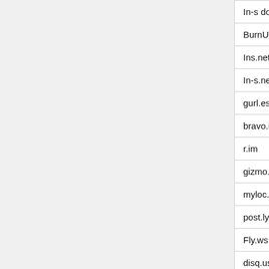| Domain | Country |
| --- | --- |
| In-s dot ru | Russia |
| BurnURL.com | None |
| Ins.net | None |
| In-s.net | None |
| gurl.es | Spain |
| bravo.ly | Libya |
| r.im | Isle of M... |
| gizmo.do | Dominican Republic |
| myloc.me | Montenegro |
| post.ly | Libya |
| Fly.ws | Samoa |
| disq.us | United States of America |
| Shrinkify.com | None |
| myurl.in | India |